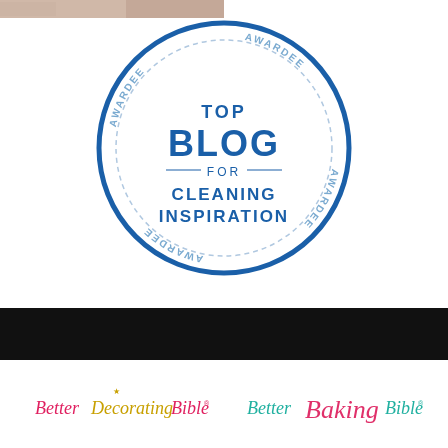[Figure (photo): Top strip showing a partial food/lifestyle photo]
[Figure (illustration): Circular badge/seal with blue border and dashed inner circle. Text reads 'AWARDEE' repeated around the ring, center text: TOP BLOG FOR CLEANING INSPIRATION]
[Figure (logo): Black horizontal bar background strip]
[Figure (logo): Better Decorating Bible logo in pink/gold text]
[Figure (logo): Better Baking Bible logo in teal/pink script text]